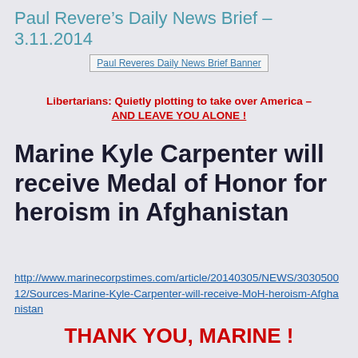Paul Revere’s Daily News Brief – 3.11.2014
[Figure (other): Paul Reveres Daily News Brief Banner image placeholder]
Libertarians: Quietly plotting to take over America – AND LEAVE YOU ALONE !
Marine Kyle Carpenter will receive Medal of Honor for heroism in Afghanistan
http://www.marinecorpstimes.com/article/20140305/NEWS/303050012/Sources-Marine-Kyle-Carpenter-will-receive-MoH-heroism-Afghanistan
THANK YOU, MARINE !